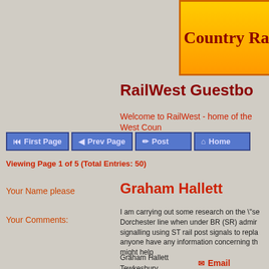West Country Railway
RailWest Guestbook
Welcome to RailWest - home of the West Country
First Page | Prev Page | Post | Home
Viewing Page 1 of 5 (Total Entries: 50)
Your Name please
Your Comments:
Graham Hallett
I am carrying out some research on the "se Dorchester line when under BR (SR) admin signalling using ST rail post signals to repla anyone have any information concerning th might help

Graham Hallett
Tewkesbury
Email